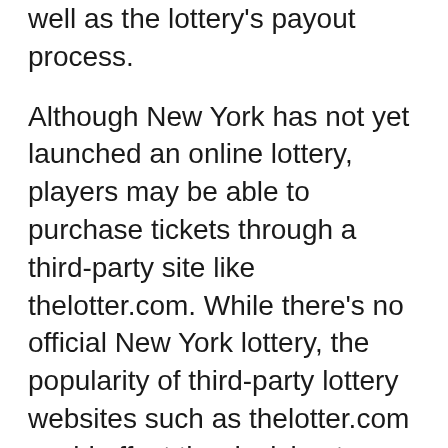well as the lottery's payout process.
Although New York has not yet launched an online lottery, players may be able to purchase tickets through a third-party site like thelotter.com. While there's no official New York lottery, the popularity of third-party lottery websites such as thelotter.com could affect the decision to launch an online lottery in the state. Even if the lottery isn't available online, many New Yorkers still enjoy purchasing physical tickets.
One state that has a legal online lottery is Minnesota. Although the